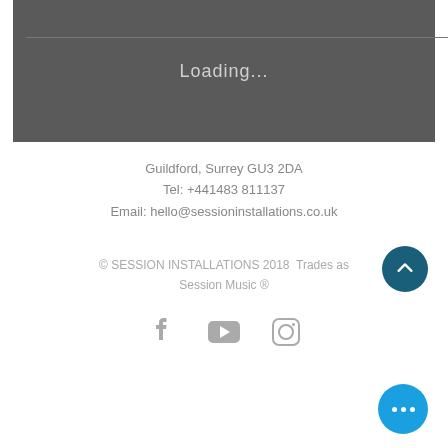[Figure (screenshot): Dark grey loading box with 'Loading...' text in light grey]
Guildford, Surrey GU3 2DA
Tel: +441483 811137
Email: hello@sessioninstallations.co.uk
© SESSION INSTALLATIONS 2018  Trades as Session Music ®
[Figure (illustration): Social media icons: Facebook, YouTube, Instagram in grey]